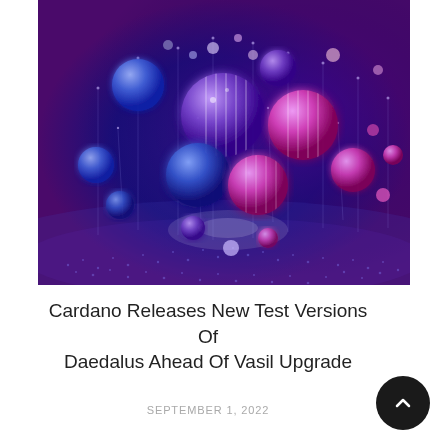[Figure (illustration): Abstract digital art showing glowing blue, purple, and pink spheres/bubbles of various sizes connected by thin luminous lines against a deep blue-to-purple gradient background with a dotted wave pattern at the bottom.]
Cardano Releases New Test Versions Of Daedalus Ahead Of Vasil Upgrade
SEPTEMBER 1, 2022